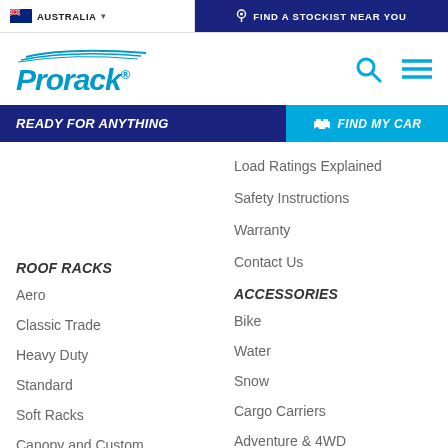AUSTRALIA ▾   📍 FIND A STOCKIST NEAR YOU
[Figure (logo): Prorack logo with swoosh above italic blue text]
READY FOR ANYTHING   🚗 FIND MY CAR
Load Ratings Explained
Safety Instructions
Warranty
Contact Us
ROOF RACKS
ACCESSORIES
Aero
Bike
Classic Trade
Water
Heavy Duty
Snow
Standard
Cargo Carriers
Soft Racks
Adventure & 4WD
Canopy and Custom
Trade & Utilities